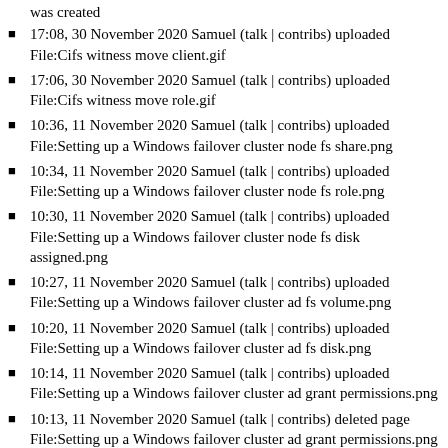was created
17:08, 30 November 2020 Samuel (talk | contribs) uploaded File:Cifs witness move client.gif
17:06, 30 November 2020 Samuel (talk | contribs) uploaded File:Cifs witness move role.gif
10:36, 11 November 2020 Samuel (talk | contribs) uploaded File:Setting up a Windows failover cluster node fs share.png
10:34, 11 November 2020 Samuel (talk | contribs) uploaded File:Setting up a Windows failover cluster node fs role.png
10:30, 11 November 2020 Samuel (talk | contribs) uploaded File:Setting up a Windows failover cluster node fs disk assigned.png
10:27, 11 November 2020 Samuel (talk | contribs) uploaded File:Setting up a Windows failover cluster ad fs volume.png
10:20, 11 November 2020 Samuel (talk | contribs) uploaded File:Setting up a Windows failover cluster ad fs disk.png
10:14, 11 November 2020 Samuel (talk | contribs) uploaded File:Setting up a Windows failover cluster ad grant permissions.png
10:13, 11 November 2020 Samuel (talk | contribs) deleted page File:Setting up a Windows failover cluster ad grant permissions.png
10:11, 11 November 2020 Samuel (talk | contribs) deleted page File:Setting up a Windows failover cluster ad grant permissions.png (Deleted old revision